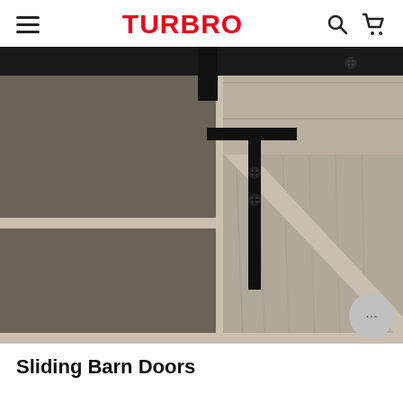TURBRO
[Figure (photo): Close-up photo of a sliding barn door furniture piece showing grey wood-grain panels with a black metal sliding track hardware at the top and a black metal Z-brace bracket with screws. The left side shows an open shelf compartment, and the right side shows the barn-style door panel partially slid open revealing diagonal bracing.]
Sliding Barn Doors